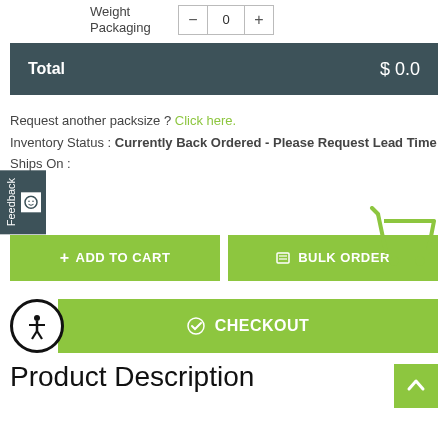Weight Packaging
| − | 0 | + |
Total   $ 0.0
Request another packsize ? Click here.
Inventory Status : Currently Back Ordered - Please Request Lead Time
Ships On :
[Figure (illustration): Green shopping cart icon]
+ ADD TO CART
BULK ORDER
CHECKOUT
[Figure (illustration): Accessibility icon - person in circle]
[Figure (illustration): Scroll to top arrow button]
Product Description